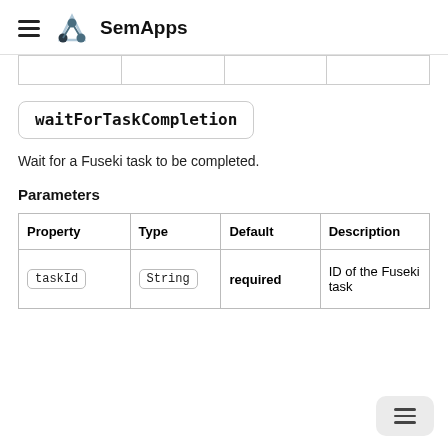SemApps
|  |   |   |   |
waitForTaskCompletion
Wait for a Fuseki task to be completed.
Parameters
| Property | Type | Default | Description |
| --- | --- | --- | --- |
| taskId | String | required | ID of the Fuseki task |